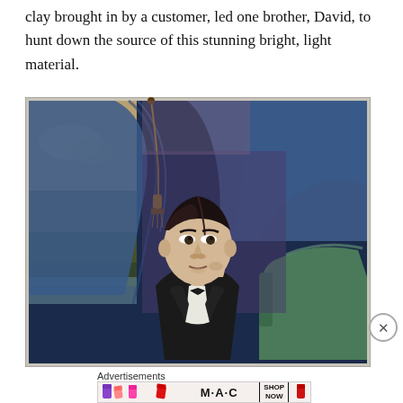clay brought in by a customer, led one brother, David, to hunt down the source of this stunning bright, light material.
[Figure (photo): Oil portrait painting of a young 19th-century man in a black tuxedo with bow tie, seated with hand raised to chin in a contemplative pose. Background shows a blue draped curtain with gold tassel, a green upholstered chair, and a landscape scene at left.]
Advertisements
[Figure (photo): MAC Cosmetics advertisement banner showing colorful lipsticks and the text SHOP NOW in a box.]